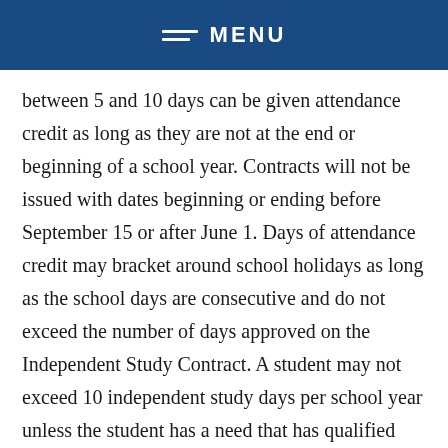MENU
between 5 and 10 days can be given attendance credit as long as they are not at the end or beginning of a school year. Contracts will not be issued with dates beginning or ending before September 15 or after June 1. Days of attendance credit may bracket around school holidays as long as the school days are consecutive and do not exceed the number of days approved on the Independent Study Contract. A student may not exceed 10 independent study days per school year unless the student has a need that has qualified them for long-term independent study. Long-term independent study is available for